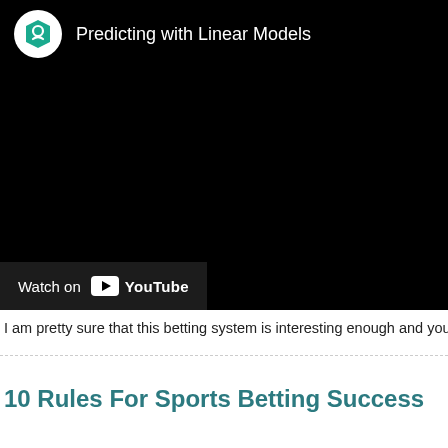[Figure (screenshot): YouTube video embed showing 'Predicting with Linear Models' with a channel icon (green hexagonal shield logo on white circle), white title text, black video area, and a 'Watch on YouTube' bar at the bottom left.]
I am pretty sure that this betting system is interesting enough and you could try
10 Rules For Sports Betting Success